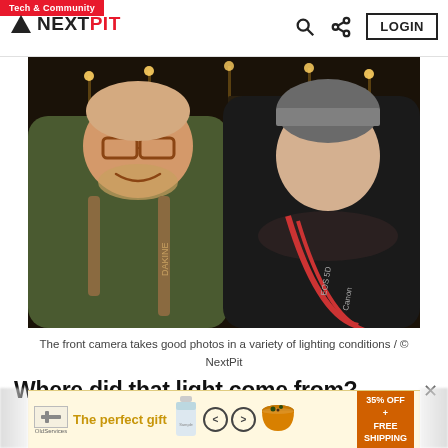Tech & Community | NEXTPIT | LOGIN
[Figure (photo): Two men taking a selfie outdoors at night. The man on the left wears glasses and a green jacket with a Dakine backpack. The man on the right wears a grey beanie and a dark jacket with a Canon EOS 5D camera strap around his neck. Night street scene in background with lights.]
The front camera takes good photos in a variety of lighting conditions / © NextPit
Where did that light come from?
[Figure (infographic): Advertisement banner: 'The perfect gift' with product images, navigation arrows, bowl image, and '35% OFF + FREE SHIPPING' offer badge.]